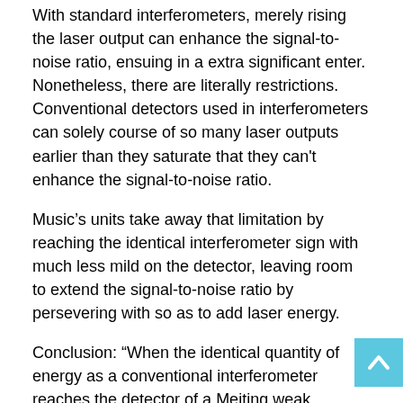With standard interferometers, merely rising the laser output can enhance the signal-to-noise ratio, ensuing in a extra significant enter. Nonetheless, there are literally restrictions. Conventional detectors used in interferometers can solely course of so many laser outputs earlier than they saturate that they can't enhance the signal-to-noise ratio.
Music's units take away that limitation by reaching the identical interferometer sign with much less mild on the detector, leaving room to extend the signal-to-noise ratio by persevering with so as to add laser energy.
Conclusion: “When the identical quantity of energy as a conventional interferometer reaches the detector of a Meiting weak system, the signal-to-noise ratio of the Meiting system at all times improves,” says Cardenas. “This work is actually cool, actually refined, and has a lot of nice physics and engineering in the background.”